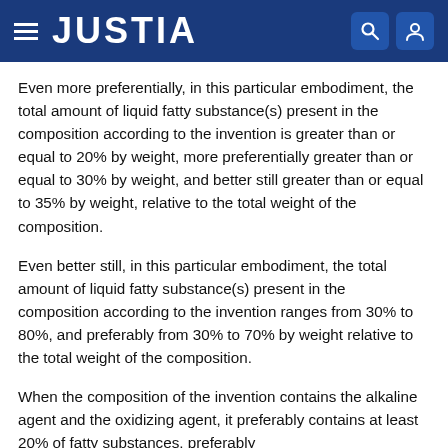JUSTIA
Even more preferentially, in this particular embodiment, the total amount of liquid fatty substance(s) present in the composition according to the invention is greater than or equal to 20% by weight, more preferentially greater than or equal to 30% by weight, and better still greater than or equal to 35% by weight, relative to the total weight of the composition.
Even better still, in this particular embodiment, the total amount of liquid fatty substance(s) present in the composition according to the invention ranges from 30% to 80%, and preferably from 30% to 70% by weight relative to the total weight of the composition.
When the composition of the invention contains the alkaline agent and the oxidizing agent, it preferably contains at least 20% of fatty substances, preferably